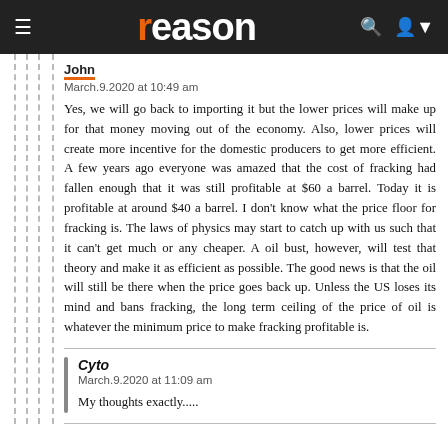reason
March.9.2020 at 10:49 am
Yes, we will go back to importing it but the lower prices will make up for that money moving out of the economy. Also, lower prices will create more incentive for the domestic producers to get more efficient. A few years ago everyone was amazed that the cost of fracking had fallen enough that it was still profitable at $60 a barrel. Today it is profitable at around $40 a barrel. I don't know what the price floor for fracking is. The laws of physics may start to catch up with us such that it can't get much or any cheaper. A oil bust, however, will test that theory and make it as efficient as possible. The good news is that the oil will still be there when the price goes back up. Unless the US loses its mind and bans fracking, the long term ceiling of the price of oil is whatever the minimum price to make fracking profitable is.
Cyto
March.9.2020 at 11:09 am
My thoughts exactly.....